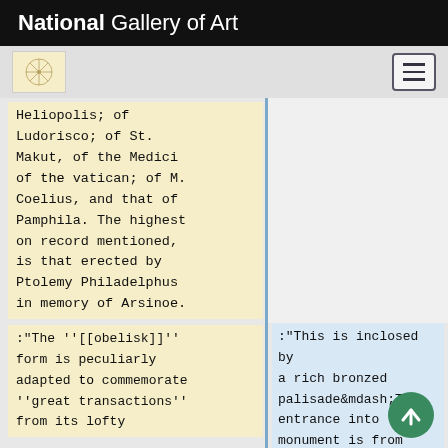National Gallery of Art
Heliopolis; of Ludorisco; of St. Makut, of the Medici of the vatican; of M. Coelius, and that of Pamphila. The highest on record mentioned, is that erected by Ptolemy Philadelphus in memory of Arsinoe.
:"The ''[[obelisk]]'' form is peculiarly adapted to commemorate ''great transactions'' from its lofty
:"This is inclosed by a rich bronzed palisade&mdash;The entrance into the monument is from this